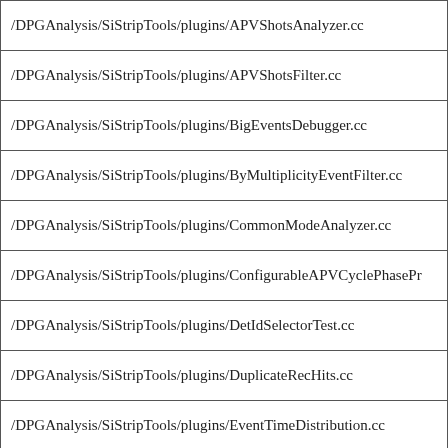| /DPGAnalysis/SiStripTools/plugins/APVShotsAnalyzer.cc |
| /DPGAnalysis/SiStripTools/plugins/APVShotsFilter.cc |
| /DPGAnalysis/SiStripTools/plugins/BigEventsDebugger.cc |
| /DPGAnalysis/SiStripTools/plugins/ByMultiplicityEventFilter.cc |
| /DPGAnalysis/SiStripTools/plugins/CommonModeAnalyzer.cc |
| /DPGAnalysis/SiStripTools/plugins/ConfigurableAPVCyclePhasePr |
| /DPGAnalysis/SiStripTools/plugins/DetIdSelectorTest.cc |
| /DPGAnalysis/SiStripTools/plugins/DuplicateRecHits.cc |
| /DPGAnalysis/SiStripTools/plugins/EventTimeDistribution.cc |
| /DPGAnalysis/SiStripTools/plugins/EventWithHistoryEDFilter.cc |
| /DPGAnalysis/SiStripTools/plugins/EventWithHistoryProducer.cc |
| /DPGAnalysis/SiStripTools/plugins/EventWithHistoryProducerFro |